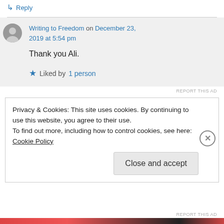↳ Reply
Writing to Freedom on December 23, 2019 at 5:54 pm
Thank you Ali.
★ Liked by 1 person
REPORT THIS AD
Privacy & Cookies: This site uses cookies. By continuing to use this website, you agree to their use.
To find out more, including how to control cookies, see here: Cookie Policy
Close and accept
REPORT THIS AD